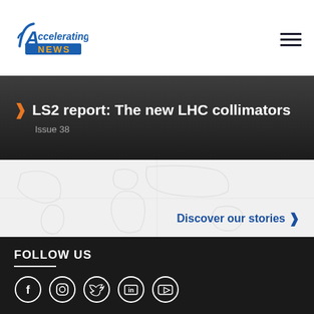Accelerating News
LS2 report: The new LHC collimators
Issue 38
Discover our stories
FOLLOW US
[Figure (illustration): Social media icons: Facebook, Instagram, Twitter, LinkedIn, YouTube — white outline circles on dark background]
CONTACT US